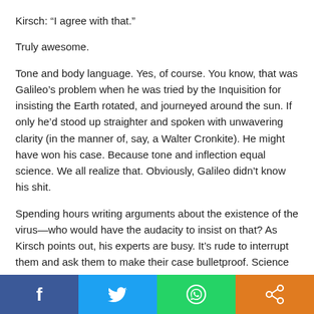Kirsch: “I agree with that.”
Truly awesome.
Tone and body language. Yes, of course. You know, that was Galileo’s problem when he was tried by the Inquisition for insisting the Earth rotated, and journeyed around the sun. If only he’d stood up straighter and spoken with unwavering clarity (in the manner of, say, a Walter Cronkite). He might have won his case. Because tone and inflection equal science. We all realize that. Obviously, Galileo didn’t know his shit.
Spending hours writing arguments about the existence of the virus—who would have the audacity to insist on that? As Kirsch points out, his experts are busy. It’s rude to interrupt them and ask them to make their case bulletproof. Science on Video tends to be based on “we
[Figure (infographic): Social media sharing bar with four buttons: Facebook (blue), Twitter (light blue), WhatsApp (green), Share (orange)]